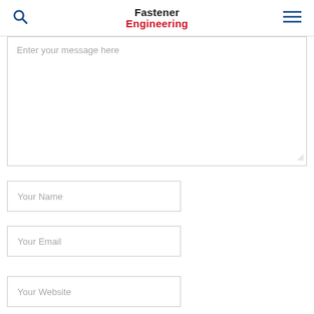Fastener Engineering
Enter your message here
Your Name
Your Email
Your Website